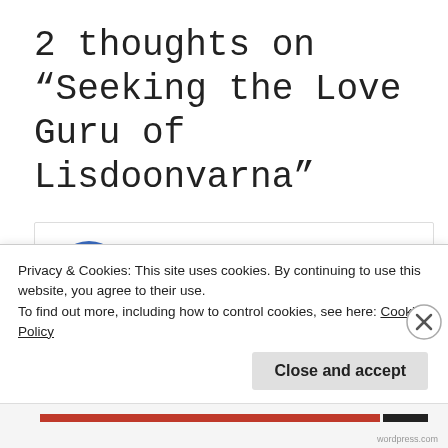2 thoughts on “Seeking the Love Guru of Lisdoonvarna”
Louis
September 6, 2016 at 11:16 am
Privacy & Cookies: This site uses cookies. By continuing to use this website, you agree to their use.
To find out more, including how to control cookies, see here: Cookie Policy